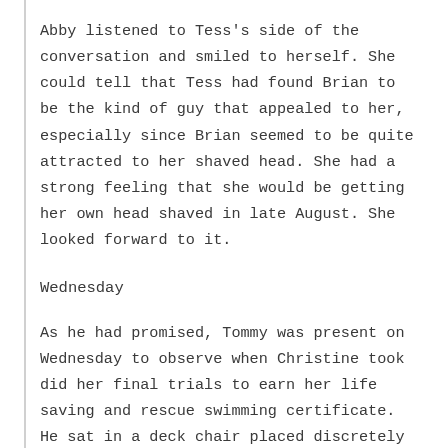Abby listened to Tess's side of the conversation and smiled to herself. She could tell that Tess had found Brian to be the kind of guy that appealed to her, especially since Brian seemed to be quite attracted to her shaved head. She had a strong feeling that she would be getting her own head shaved in late August. She looked forward to it.
Wednesday
As he had promised, Tommy was present on Wednesday to observe when Christine took did her final trials to earn her life saving and rescue swimming certificate. He sat in a deck chair placed discretely back from the pool, but plainly visible to Christine. Some of the tasks were arduous. Christine